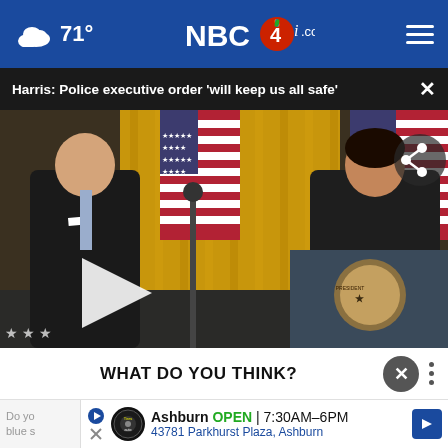NBC4i.com — 71° weather header with navigation
Harris: Police executive order 'will keep us all safe'
[Figure (screenshot): Video thumbnail showing President Biden and Vice President Harris at a White House event with American flags and presidential podium. Play button overlay visible.]
WHAT DO YOU THINK?
Do yo blue s
Ashburn OPEN | 7:30AM–6PM 43781 Parkhurst Plaza, Ashburn